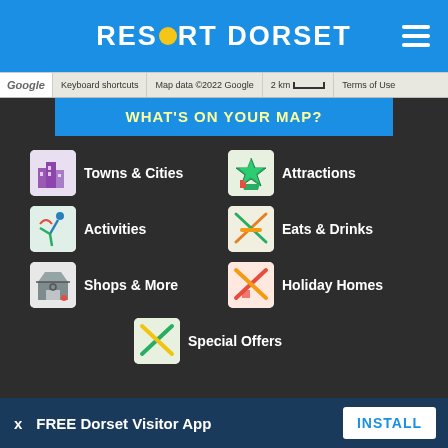[Figure (logo): Resort Dorset logo with yellow circle replacing O, white text on blue header, hamburger menu icon top right]
[Figure (screenshot): Google Maps bar showing Keyboard shortcuts, Map data ©2022 Google, 2 km scale, Terms of Use]
WHAT'S ON YOUR MAP?
Towns & Cities
Attractions
Activities
Eats & Drinks
Shops & More
Holiday Homes
Special Offers
FREE Dorset Visitor App
INSTALL